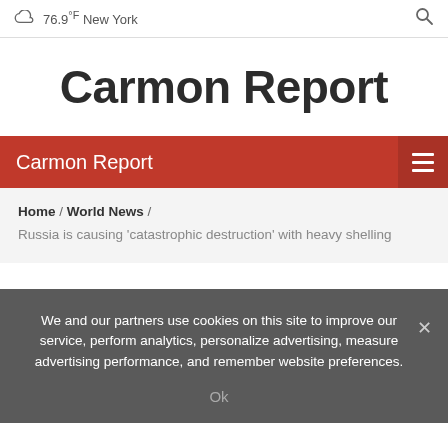76.9°F New York
Carmon Report
Carmon Report
Home / World News / Russia is causing 'catastrophic destruction' with heavy shelling
We and our partners use cookies on this site to improve our service, perform analytics, personalize advertising, measure advertising performance, and remember website preferences. Ok